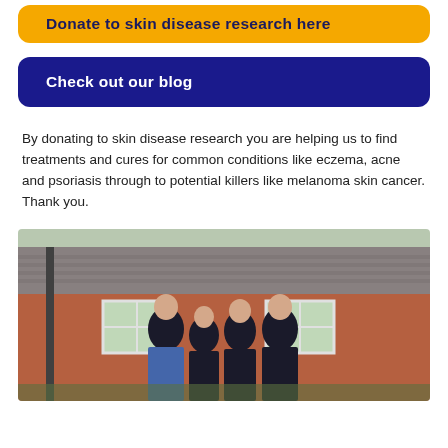Donate to skin disease research here
Check out our blog
By donating to skin disease research you are helping us to find treatments and cures for common conditions like eczema, acne and psoriasis through to potential killers like melanoma skin cancer. Thank you.
[Figure (photo): Group of four people standing outside a brick house with white-framed windows, all wearing dark jackets]